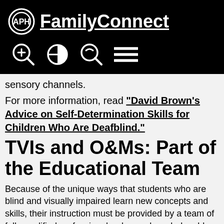APH FamilyConnect
sensory channels.
For more information, read "David Brown's Advice on Self-Determination Skills for Children Who Are Deafblind."
TVIs and O&Ms: Part of the Educational Team
Because of the unique ways that students who are blind and visually impaired learn new concepts and skills, their instruction must be provided by a team of fully qualified professionals who are knowledgeable about the strategies used to accommodate the curriculum for students with complex learning needs. Teachers of